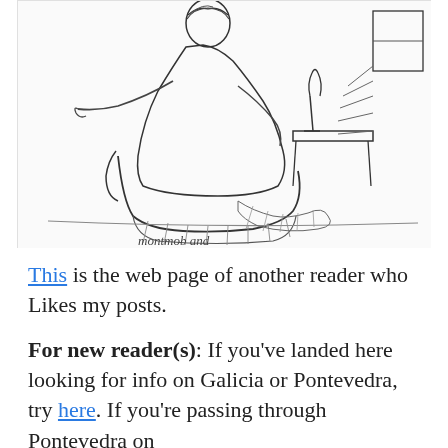[Figure (illustration): A hand-drawn sketch of a person reclining in a chair or sofa, with a wine glass on a side table, and what appears to be a lamp or shelving unit in the background. Artist signature reads 'montmob and' at the bottom.]
This is the web page of another reader who Likes my posts.
For new reader(s): If you've landed here looking for info on Galicia or Pontevedra, try here. If you're passing through Pontevedra on